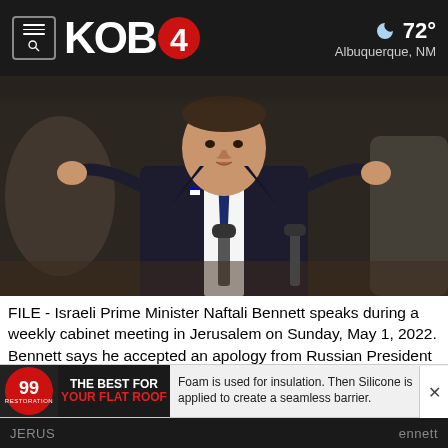KOB 4  72° Albuquerque, NM
[Figure (photo): Israeli Prime Minister Naftali Bennett speaking at a cabinet meeting, gesturing with both hands, wearing a dark suit and navy tie, with microphones in front of him.]
FILE - Israeli Prime Minister Naftali Bennett speaks during a weekly cabinet meeting in Jerusalem on Sunday, May 1, 2022. Bennett says he accepted an apology from Russian President Vladimir Putin for controversial remarks about the Holocaust made by Moscow's top diplomat. But there was no mention of an apology in the Russian statement on Thursday, May 4, call between the two leaders. (Menahem Kahana/Pool Photo via AP, File)[ASSOCIATED PRESS/Menahem Kahan
[Figure (other): Advertisement banner: 99 Restoration logo with text 'THE BEST FOR YOUR FLAT ROOF' and 'Foam is used for insulation. Then Silicone is applied to create a seamless barrier.']
JERUS ... ennett